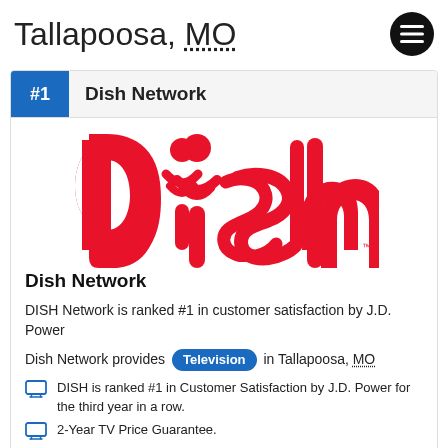Tallapoosa, MO
#1  Dish Network
[Figure (logo): DISH Network logo in red with stylized lettering and satellite dish icon]
Dish Network
DISH Network is ranked #1 in customer satisfaction by J.D. Power
Dish Network provides Television in Tallapoosa, MO
DISH is ranked #1 in Customer Satisfaction by J.D. Power for the third year in a row.
2-Year TV Price Guarantee.